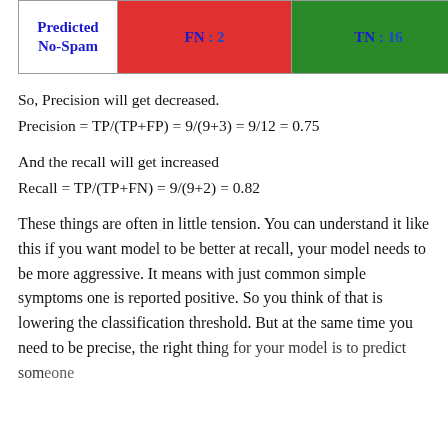|  | Actual Spam | Actual No-Spam |
| --- | --- | --- |
| Predicted No-Spam | FN : 2 | TN : 16 |
So, Precision will get decreased.
And the recall will get increased
These things are often in little tension. You can understand it like this if you want model to be better at recall, your model needs to be more aggressive. It means with just common simple symptoms one is reported positive. So you think of that is lowering the classification threshold. But at the same time you need to be precise, the right thing for your model is to predict someone